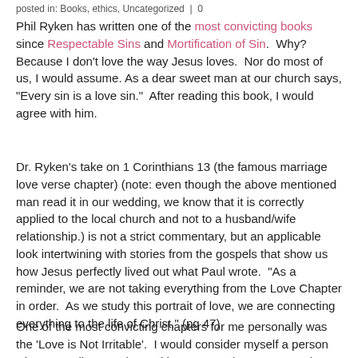posted in: Books, ethics, Uncategorized | 0
Phil Ryken has written one of the most convicting books since Respectable Sins and Mortification of Sin. Why? Because I don't love the way Jesus loves. Nor do most of us, I would assume. As a dear sweet man at our church says, "Every sin is a love sin." After reading this book, I would agree with him.
Dr. Ryken's take on 1 Corinthians 13 (the famous marriage love verse chapter) (note: even though the above mentioned man read it in our wedding, we know that it is correctly applied to the local church and not to a husband/wife relationship.) is not a strict commentary, but an applicable look intertwining with stories from the gospels that show us how Jesus perfectly lived out what Paul wrote. "As a reminder, we are not taking everything from the Love Chapter in order. As we study this portrait of love, we are connecting everything to the life of Christ." (pg 47)
One of the most convicting chapters for me personally was the 'Love is Not Irritable'. I would consider myself a person who generally gets along with most people. But, recently, probably since being married, I have come to find out that I am loving toward people who love me, work according to my plan, drive